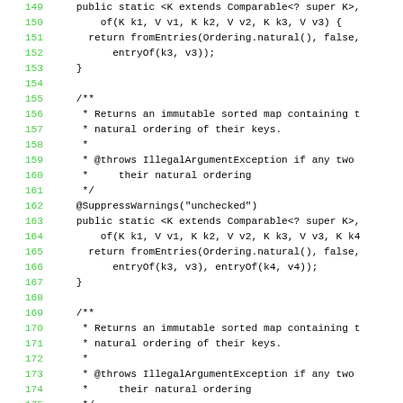[Figure (screenshot): Java source code snippet showing lines 149-178 with line numbers in green on the left and code in monospace black font on white background]